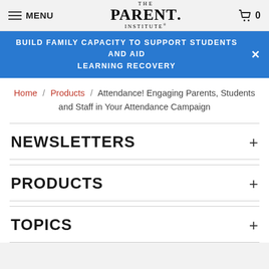MENU | The Parent Institute | Cart 0
BUILD FAMILY CAPACITY TO SUPPORT STUDENTS AND AID LEARNING RECOVERY
Home / Products / Attendance! Engaging Parents, Students and Staff in Your Attendance Campaign
NEWSLETTERS +
PRODUCTS +
TOPICS +